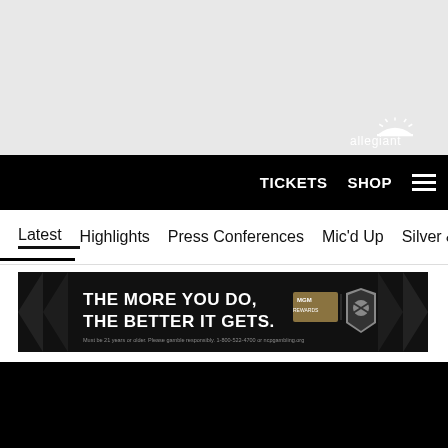[Figure (logo): Allegiant logo in white on gray background, top right]
TICKETS  SHOP  ☰
Latest   Highlights   Press Conferences   Mic'd Up   Silver & Black
[Figure (infographic): MGM Rewards Raiders advertisement banner: THE MORE YOU DO, THE BETTER IT GETS. Must be 21 years or older. Please gamble responsibly. 1-800-522-4700 or ncpgambling.org]
[Figure (photo): Dark/black video thumbnail area at bottom of page]